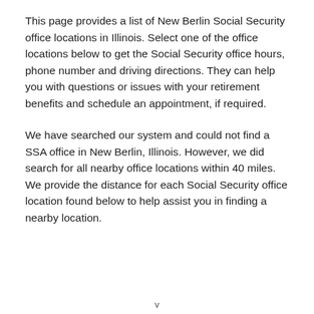This page provides a list of New Berlin Social Security office locations in Illinois. Select one of the office locations below to get the Social Security office hours, phone number and driving directions. They can help you with questions or issues with your retirement benefits and schedule an appointment, if required.
We have searched our system and could not find a SSA office in New Berlin, Illinois. However, we did search for all nearby office locations within 40 miles. We provide the distance for each Social Security office location found below to help assist you in finding a nearby location.